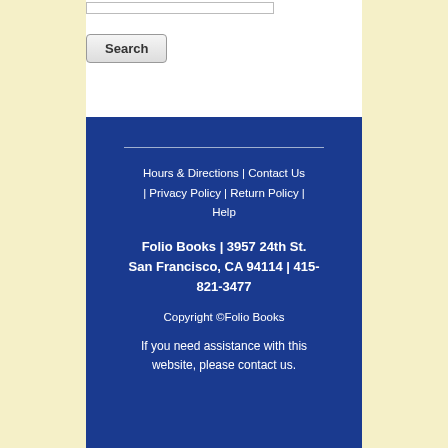[Figure (screenshot): Search button UI element with a rounded rectangle button labeled 'Search' and a text input bar above it]
Hours & Directions | Contact Us | Privacy Policy | Return Policy | Help
Folio Books | 3957 24th St. San Francisco, CA 94114 | 415-821-3477
Copyright ©Folio Books
If you need assistance with this website, please contact us.